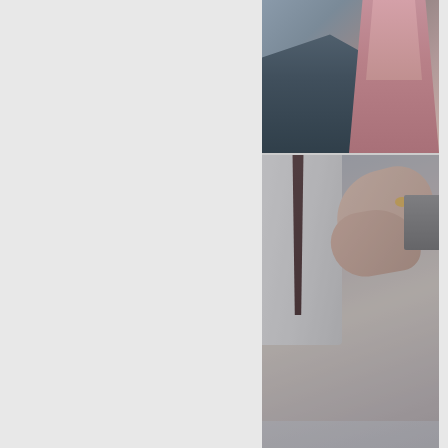[Figure (photo): Top portion of a photo showing a person in a pink/mauve shirt near a car, representing a car accident scene. Only the torso and background car are visible.]
[Figure (photo): Photo of a doctor in white coat examining a patient's wrist/hand, representing Carpal Tunnel Syndrome. Glasses and papers visible on desk in foreground.]
Carpal Tunnel Syndrome
more info ❯
[Figure (photo): Gray/neutral colored panel representing a Construction Accidents section, with no distinct photographic content visible in this portion.]
Construction Accidents
more info ❯